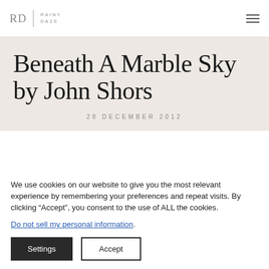RD | RAINY DAZE
Beneath A Marble Sky by John Shors
28 DECEMBER 2012
We use cookies on our website to give you the most relevant experience by remembering your preferences and repeat visits. By clicking “Accept”, you consent to the use of ALL the cookies.
Do not sell my personal information.
Settings  Accept